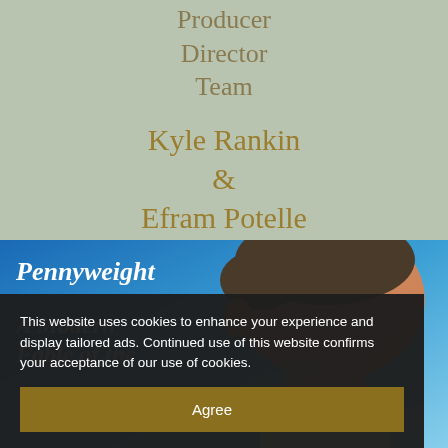Producer
Director
Team
Kyle Rankin
&
Efram Potelle
[Figure (photo): Blue sky background with partial view of a man's head/face, text overlays reading 'Pennyweight' and 'A Modern Fable of the']
This website uses cookies to enhance your experience and display tailored ads. Continued use of this website confirms your acceptance of our use of cookies.
Agree